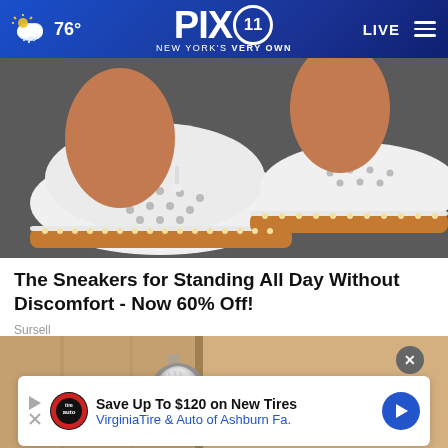76° PIX11 NEW YORK'S VERY OWN LIVE
[Figure (photo): Close-up photo of feet wearing white perforated slip-on sneakers with cork/tan platform soles and decorative stitch detailing, on a dark surface]
The Sneakers for Standing All Day Without Discomfort - Now 60% Off!
Sursell
[Figure (photo): Photo of a door knob with aluminum foil wrapped around it, on a wooden door]
Save Up To $120 on New Tires Virginia Tire & Auto of Ashburn Fa.